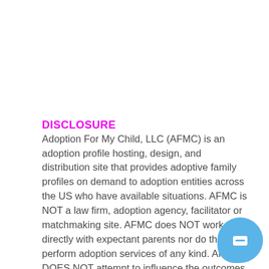DISCLOSURE
Adoption For My Child, LLC (AFMC) is an adoption profile hosting, design, and distribution site that provides adoptive family profiles on demand to adoption entities across the US who have available situations. AFMC is NOT a law firm, adoption agency, facilitator or matchmaking site. AFMC does NOT work directly with expectant parents nor do they perform adoption services of any kind. AFMC DOES NOT attempt to influence the outcomes of adoptions or final decisions made between the expectant parents and adoptive families that use their platform to connect.